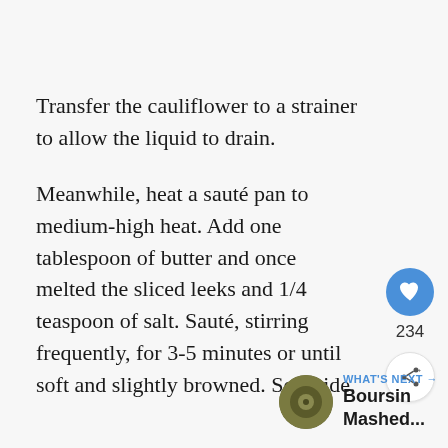Transfer the cauliflower to a strainer to allow the liquid to drain.
Meanwhile, heat a sauté pan to medium-high heat. Add one tablespoon of butter and once melted the sliced leeks and 1/4 teaspoon of salt. Sauté, stirring frequently, for 3-5 minutes or until soft and slightly browned. Set aside.
[Figure (other): Heart/like button icon (blue circle with white heart) with count 234, and a share icon button below]
[Figure (other): What's Next promo showing a circular food photo thumbnail with text 'WHAT'S NEXT → Boursin Mashed...']